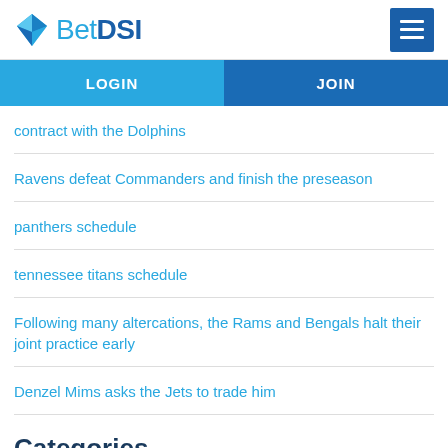BetDSI
contract with the Dolphins
Ravens defeat Commanders and finish the preseason
panthers schedule
tennessee titans schedule
Following many altercations, the Rams and Bengals halt their joint practice early
Denzel Mims asks the Jets to trade him
Categories